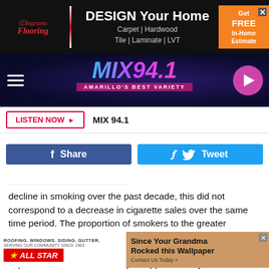[Figure (screenshot): Top advertisement banner for Ingrams Flooring with text 'DESIGN Your Home Carpet | Hardwood Tile | Laminate | LVT' and orange CTA 'Get FREE In-Home Estimate']
[Figure (logo): MIX 94.1 radio station banner with tagline 'AMARILLO'S BEST VARIETY', hamburger menu icon, and pink play button]
[Figure (screenshot): Listen Now button and MIX 94.1 text in a white bar]
[Figure (screenshot): Facebook Share and Twitter Tweet social sharing buttons]
decline in smoking over the past decade, this did not correspond to a decrease in cigarette sales over the same time period. The proportion of smokers to the greater population gradually but steadily decreased between 2011 and 2018. On the other hand, while cigarette sales experienced a downwards dip of approximately $18 million in 2015, by 2018 sales bounced back to the same level as the beginning of the
[Figure (screenshot): Bottom advertisement split: left side All Star Roofing 'ROOFING. WINDOWS. SIDING. GUTTER. SERVING OUR COMMUNITY SINCE 1963', right side 'Since Your Grandma Rocked this Wallpaper – Contact Us Today']